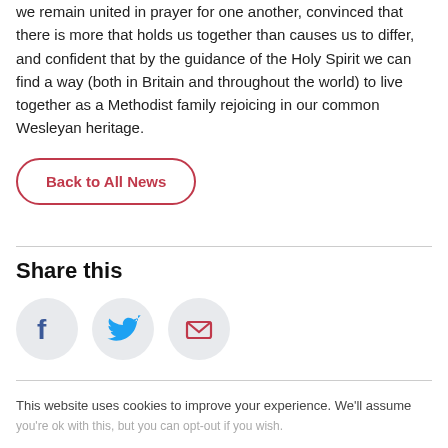we remain united in prayer for one another, convinced that there is more that holds us together than causes us to differ, and confident that by the guidance of the Holy Spirit we can find a way (both in Britain and throughout the world) to live together as a Methodist family rejoicing in our common Wesleyan heritage.
Back to All News
Share this
[Figure (infographic): Three social share icon circles: Facebook (blue f), Twitter (blue bird), Email (red envelope)]
This website uses cookies to improve your experience. We'll assume